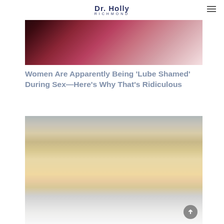Dr. Holly Richmond
[Figure (photo): Close-up photo with pink/red tones, abstract body image]
Women Are Apparently Being 'Lube Shamed' During Sex—Here's Why That's Ridiculous
[Figure (photo): Person sitting on a toilet with underwear pulled down, next to a white radiator]